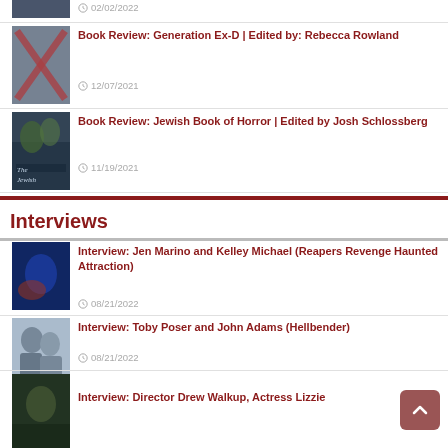[Figure (photo): Partial thumbnail image of book cover at top of page, cut off]
02/02/2022
[Figure (photo): Book cover for Generation Ex-D with red X mark]
Book Review: Generation Ex-D | Edited by: Rebecca Rowland
12/07/2021
[Figure (photo): Book cover for The Jewish Book of Horror]
Book Review: Jewish Book of Horror | Edited by Josh Schlossberg
11/19/2021
Interviews
[Figure (photo): Blue-lit horror face photo for Reapers Revenge Haunted Attraction interview]
Interview: Jen Marino and Kelley Michael (Reapers Revenge Haunted Attraction)
08/21/2022
[Figure (photo): Photo of Toby Poser and John Adams for Hellbender interview]
Interview: Toby Poser and John Adams (Hellbender)
08/21/2022
[Figure (photo): Partial thumbnail for Director Drew Walkup interview, cut off at bottom]
Interview: Director Drew Walkup, Actress Lizzie